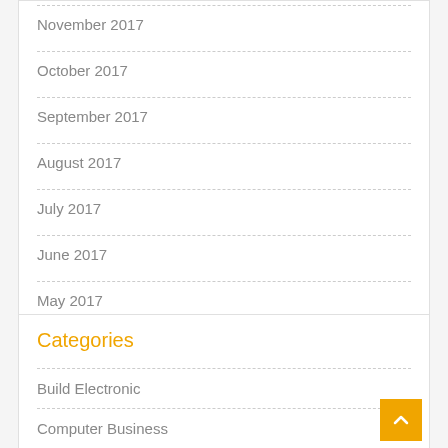November 2017
October 2017
September 2017
August 2017
July 2017
June 2017
May 2017
Categories
Build Electronic
Computer Business